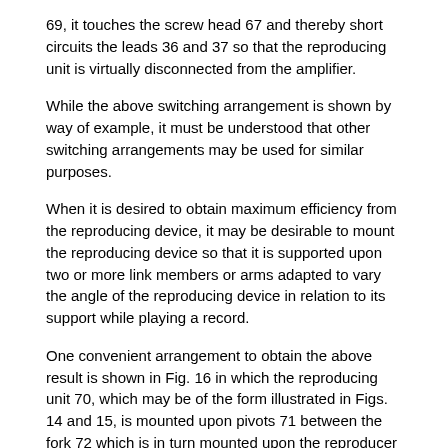69, it touches the screw head 67 and thereby short circuits the leads 36 and 37 so that the reproducing unit is virtually disconnected from the amplifier.
While the above switching arrangement is shown by way of example, it must be understood that other switching arrangements may be used for similar purposes.
When it is desired to obtain maximum efficiency from the reproducing device, it may be desirable to mount the reproducing device so that it is supported upon two or more link members or arms adapted to vary the angle of the reproducing device in relation to its support while playing a record.
One convenient arrangement to obtain the above result is shown in Fig. 16 in which the reproducing unit 70, which may be of the form illustrated in Figs. 14 and 15, is mounted upon pivots 71 between the fork 72 which is in turn mounted upon the reproducer supporting links or rods 73 and 74, which are pivoted upon the cabinet of the instrument at 75 so that they operate after the manner of a parallel ruler to enable the stylus 49 to maintain a more perfect track alignment relative to the record groove on the